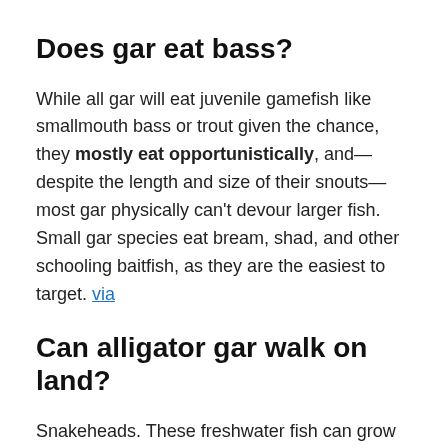Does gar eat bass?
While all gar will eat juvenile gamefish like smallmouth bass or trout given the chance, they mostly eat opportunistically, and—despite the length and size of their snouts—most gar physically can't devour larger fish. Small gar species eat bream, shad, and other schooling baitfish, as they are the easiest to target. via
Can alligator gar walk on land?
Snakeheads. These freshwater fish can grow as long as three feet. They are sharp-toothed predators and may attack humans who get too close to their nests.